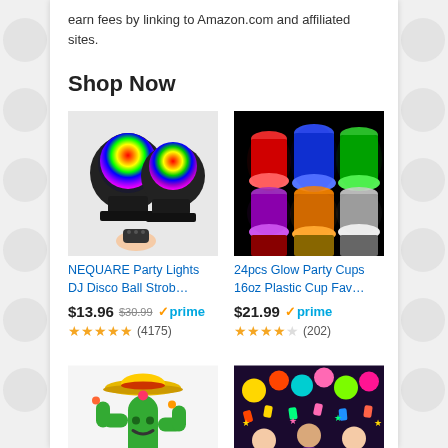earn fees by linking to Amazon.com and affiliated sites.
Shop Now
[Figure (photo): NEQUARE Party Lights DJ Disco Ball strobe lights with remote control, showing two rainbow-colored disco ball lights on black bases]
NEQUARE Party Lights DJ Disco Ball Strob…
$13.96  $30.99  ✓prime  (4175 reviews, 4.5 stars)
[Figure (photo): 24pcs Glow Party Cups 16oz in multiple colors (red, blue, green, purple, orange, white) glowing cups arranged in rows on black background]
24pcs Glow Party Cups 16oz Plastic Cup Fav…
$21.99  ✓prime  (202 reviews, 4 stars)
[Figure (photo): Green cactus inflatable balloon character wearing a sombrero]
[Figure (photo): Mardi Gras or fiesta party decoration set with various colorful supplies and Happy Birthday banner]